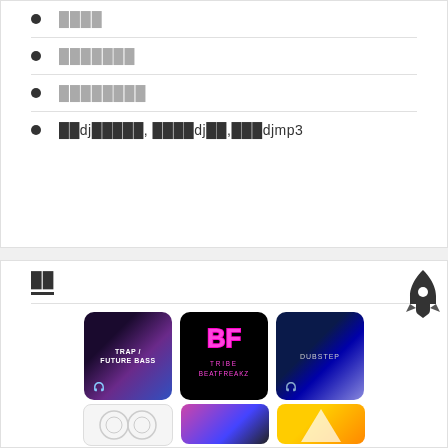████
███████
████████
██dj█████, ████dj██,███djmp3
██
[Figure (illustration): Three music album/genre cover images in a row: Trap/Future Bass (dark purple gradient), Tribe Beatfreakz (neon pink logo on black), Dubstep (dark blue gradient). Below are two partial images.]